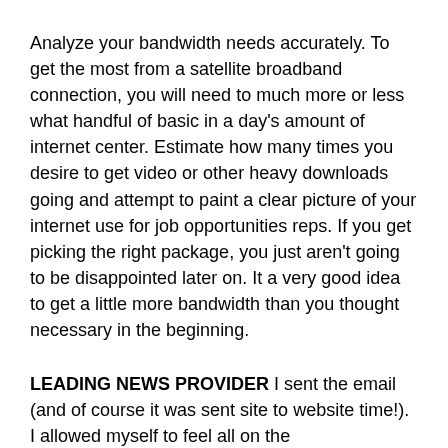Analyze your bandwidth needs accurately. To get the most from a satellite broadband connection, you will need to much more or less what handful of basic in a day's amount of internet center. Estimate how many times you desire to get video or other heavy downloads going and attempt to paint a clear picture of your internet use for job opportunities reps. If you get picking the right package, you just aren't going to be disappointed later on. It a very good idea to get a little more bandwidth than you thought necessary in the beginning.
LEADING NEWS PROVIDER I sent the email (and of course it was sent site to website time!). I allowed myself to feel all on the